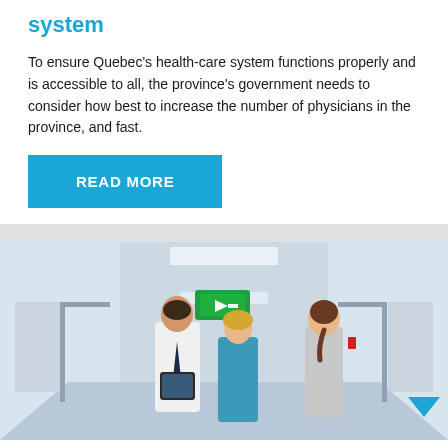system
To ensure Quebec's health-care system functions properly and is accessible to all, the province's government needs to consider how best to increase the number of physicians in the province, and fast.
READ MORE
[Figure (photo): A doctor in a white coat holding a tablet walking down a hospital corridor with a nurse in blue scrubs, and another person in the background walking away.]